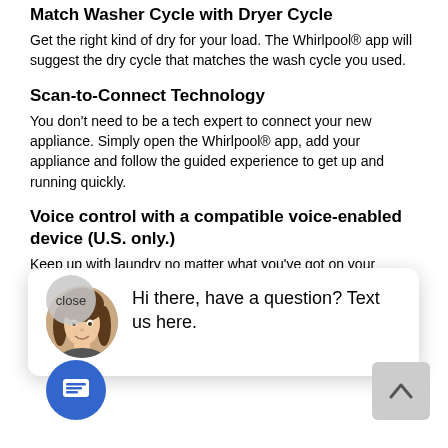Match Washer Cycle with Dryer Cycle
Get the right kind of dry for your load. The Whirlpool® app will suggest the dry cycle that matches the wash cycle you used.
Scan-to-Connect Technology
You don't need to be a tech expert to connect your new appliance. Simply open the Whirlpool® app, add your appliance and follow the guided experience to get up and running quickly.
Voice control with a compatible voice-enabled device (U.S. only.)
Keep up with laundry no matter what you've got on your compatible
[Figure (other): Chat widget overlay showing a woman's photo avatar and text: Hi there, have a question? Text us here.]
ake sure your family s laundry gets the care it deserves while helping y day go more smoothly.
orite Cycles
Save your favorite cycles under any name and edit at any